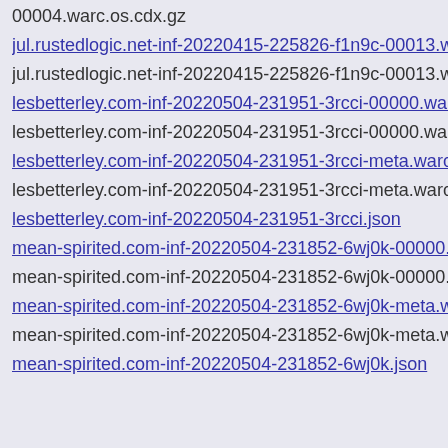00004.warc.os.cdx.gz
jul.rustedlogic.net-inf-20220415-225826-f1n9c-00013.warc.gz
jul.rustedlogic.net-inf-20220415-225826-f1n9c-00013.warc.os
lesbetterley.com-inf-20220504-231951-3rcci-00000.warc.gz
lesbetterley.com-inf-20220504-231951-3rcci-00000.warc.os.c
lesbetterley.com-inf-20220504-231951-3rcci-meta.warc.gz
lesbetterley.com-inf-20220504-231951-3rcci-meta.warc.os.cdx
lesbetterley.com-inf-20220504-231951-3rcci.json
mean-spirited.com-inf-20220504-231852-6wj0k-00000.warc.g
mean-spirited.com-inf-20220504-231852-6wj0k-00000.warc.o
mean-spirited.com-inf-20220504-231852-6wj0k-meta.warc.gz
mean-spirited.com-inf-20220504-231852-6wj0k-meta.warc.os
mean-spirited.com-inf-20220504-231852-6wj0k.json